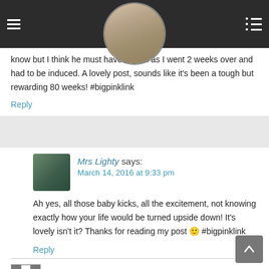[navigation header with hamburger menu, profile photo, and list icon]
know but I think he must have known as I went 2 weeks over and had to be induced. A lovely post, sounds like it's been a tough but rewarding 80 weeks! #bigpinklink
Reply
Mrs Lighty says:
March 14, 2016 at 9:33 pm
Ah yes, all those baby kicks, all the excitement, not knowing exactly how your life would be turned upside down! It's lovely isn't it? Thanks for reading my post 🙂 #bigpinklink
Reply
queenofmycastlesite says: